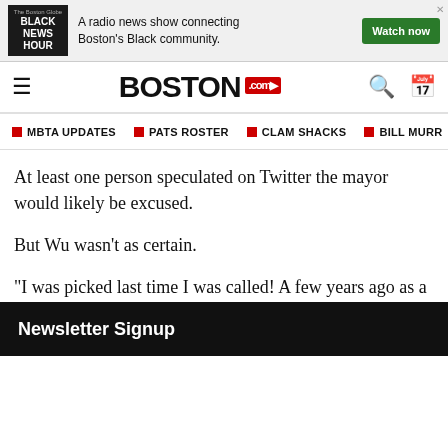[Figure (screenshot): Advertisement banner for Black News Hour — a radio news show connecting Boston's Black community. Features a Watch now button.]
BOSTON.com navigation bar with hamburger menu, Boston.com logo, search icon and calendar icon
MBTA UPDATES   PATS ROSTER   CLAM SHACKS   BILL MURR
At least one person speculated on Twitter the mayor would likely be excused.
But Wu wasn't as certain.
“I was picked last time I was called! A few years ago as a City Councilor,” she responded in a tweet.
[Figure (other): Dotted red separator line]
Newsletter Signup